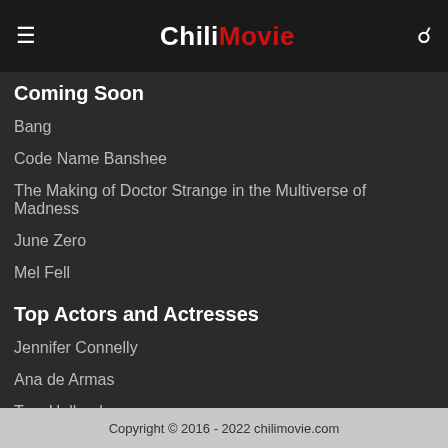ChiliMovie
Coming Soon
Bang
Code Name Banshee
The Making of Doctor Strange in the Multiverse of Madness
June Zero
Mel Fell
Top Actors and Actresses
Jennifer Connelly
Ana de Armas
Tom Holland
Val Kilmer
Winona Ryder
Copyright © 2016 - 2022 chilimovie.com